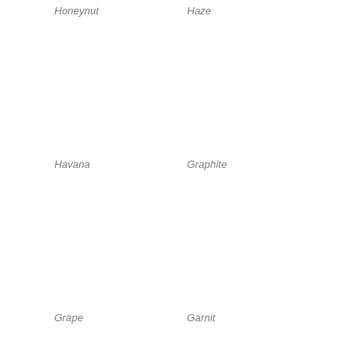Honeynut
Haze
Havana
Graphite
Grape
Garnit